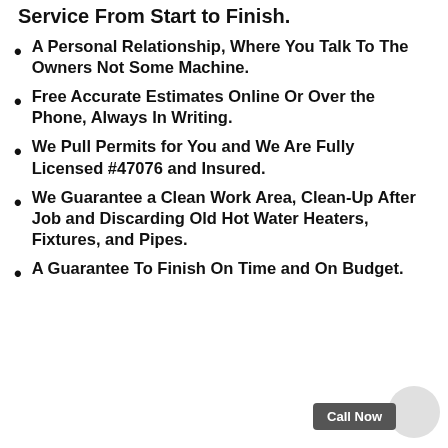Service From Start to Finish.
A Personal Relationship, Where You Talk To The Owners Not Some Machine.
Free Accurate Estimates Online Or Over the Phone, Always In Writing.
We Pull Permits for You and We Are Fully Licensed #47076 and Insured.
We Guarantee a Clean Work Area, Clean-Up After Job and Discarding Old Hot Water Heaters, Fixtures, and Pipes.
A Guarantee To Finish On Time and On Budget.